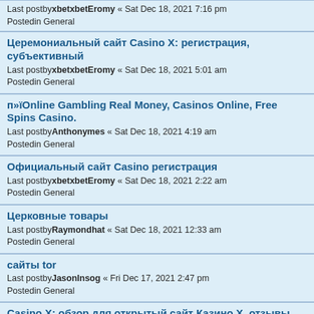Last postbyxbetxbetEromy « Sat Dec 18, 2021 7:16 pm
Postedin General
Церемониальный сайт Casino X: регистрация, субъективный
Last postbyxbetxbetEromy « Sat Dec 18, 2021 5:01 am
Postedin General
п»їOnline Gambling Real Money, Casinos Online, Free Spins Casino.
Last postbyAnthonymes « Sat Dec 18, 2021 4:19 am
Postedin General
Официальный сайт Casino регистрация
Last postbyxbetxbetEromy « Sat Dec 18, 2021 2:22 am
Postedin General
Церковные товары
Last postbyRaymondhat « Sat Dec 18, 2021 12:33 am
Postedin General
сайты tor
Last postbyJasonInsog « Fri Dec 17, 2021 2:47 pm
Postedin General
Casino X: обзор для открытый сайт Казино X, отзывы
Last postbyxbetxbetEromy « Fri Dec 17, 2021 1:08 pm
Postedin General
How to play slots online for money , online casino that use paysafe to deposit
Last postbyDarwinclc « Fri Dec 17, 2021 12:09 pm
Postedin General
Официальный сайт Casino X: регистрация, субъективный